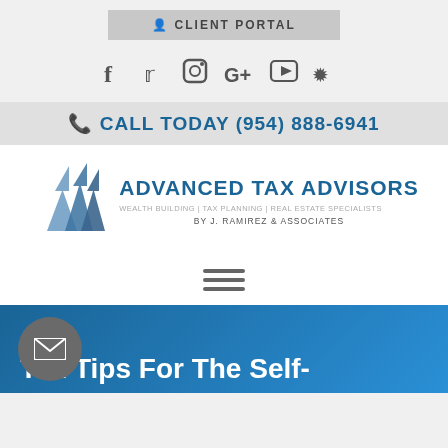CLIENT PORTAL
[Figure (infographic): Social media icons row: Facebook, Twitter, Instagram, Google+, YouTube, Yelp]
CALL TODAY (954) 888-6941
[Figure (logo): Advanced Tax Advisors logo with stylized arrow/mountain icon. Text: ADVANCED TAX ADVISORS, WEALTH BUILDING | TAX PLANNING | REAL ESTATE SPECIALISTS, BY J. RAMIREZ & ASSOCIATES]
[Figure (other): Hamburger menu icon (three horizontal lines)]
Tax Tips For The Self-